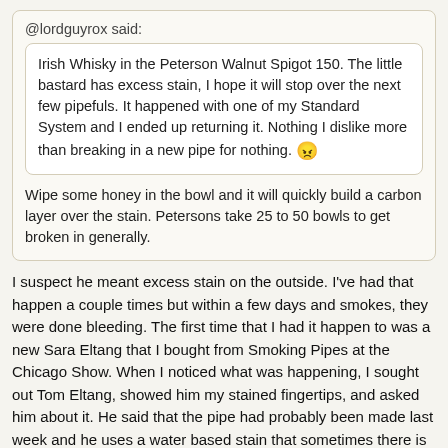@lordguyrox said:
Irish Whisky in the Peterson Walnut Spigot 150. The little bastard has excess stain, I hope it will stop over the next few pipefuls.  It happened with one of my Standard System and I ended up returning it. Nothing I dislike more than breaking in a new pipe for nothing. 😠
Wipe some honey in the bowl and it will quickly build a carbon layer over the stain. Petersons take 25 to 50 bowls to get broken in generally.
I suspect he meant excess stain on the outside.  I've had that happen a couple times but within a few days and smokes, they were done bleeding.  The first time that I had it happen to was a new Sara Eltang that I bought from Smoking Pipes at the Chicago Show.  When I noticed what was happening, I sought out Tom Eltang, showed him my stained fingertips, and asked him about it.  He said that the pipe had probably been made last week and he uses a water based stain that sometimes there is excess in the pores.
Have you tried applying a coat of wax to see if that helps?
johnlawitzke
Pro Member
Nov 7, 2021 at 12:34am